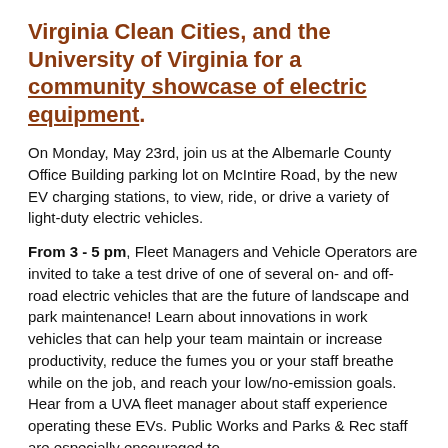Virginia Clean Cities, and the University of Virginia for a community showcase of electric equipment.
On Monday, May 23rd, join us at the Albemarle County Office Building parking lot on McIntire Road, by the new EV charging stations, to view, ride, or drive a variety of light-duty electric vehicles.
From 3 - 5 pm, Fleet Managers and Vehicle Operators are invited to take a test drive of one of several on- and off-road electric vehicles that are the future of landscape and park maintenance! Learn about innovations in work vehicles that can help your team maintain or increase productivity, reduce the fumes you or your staff breathe while on the job, and reach your low/no-emission goals. Hear from a UVA fleet manager about staff experience operating these EVs. Public Works and Parks & Rec staff are especially encouraged to
[Figure (other): Google Translate widget button with 'Select Language' dropdown label]
From 5 - 6 pm. Community members are invited to view a